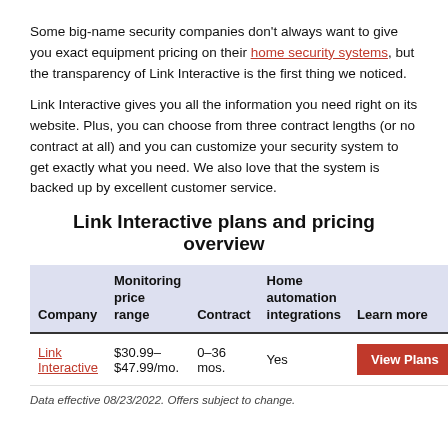Some big-name security companies don't always want to give you exact equipment pricing on their home security systems, but the transparency of Link Interactive is the first thing we noticed.
Link Interactive gives you all the information you need right on its website. Plus, you can choose from three contract lengths (or no contract at all) and you can customize your security system to get exactly what you need. We also love that the system is backed up by excellent customer service.
Link Interactive plans and pricing overview
| Company | Monitoring price range | Contract | Home automation integrations | Learn more |
| --- | --- | --- | --- | --- |
| Link Interactive | $30.99–$47.99/mo. | 0–36 mos. | Yes | View Plans |
Data effective 08/23/2022. Offers subject to change.